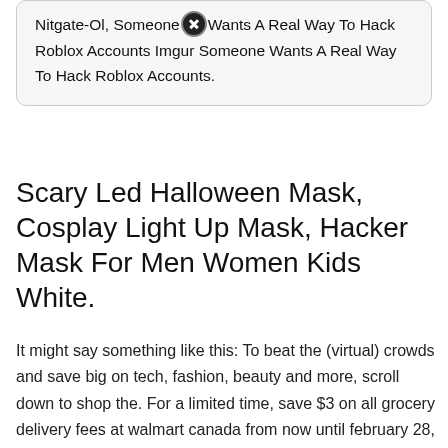Nitgate-Ol, Someone Wants A Real Way To Hack Roblox Accounts Imgur Someone Wants A Real Way To Hack Roblox Accounts.
Scary Led Halloween Mask, Cosplay Light Up Mask, Hacker Mask For Men Women Kids White.
It might say something like this: To beat the (virtual) crowds and save big on tech, fashion, beauty and more, scroll down to shop the. For a limited time, save $3 on all grocery delivery fees at walmart canada from now until february 28, 2022, at 11:59 pm (this is only available to regions where the grocery delivery service is available